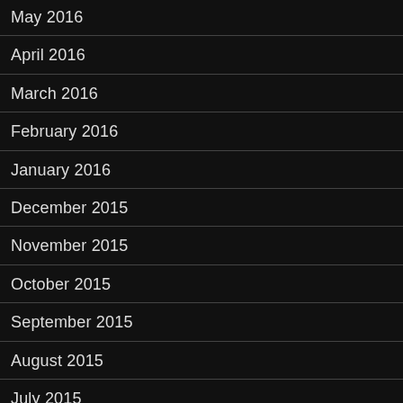May 2016
April 2016
March 2016
February 2016
January 2016
December 2015
November 2015
October 2015
September 2015
August 2015
July 2015
June 2015
May 2015